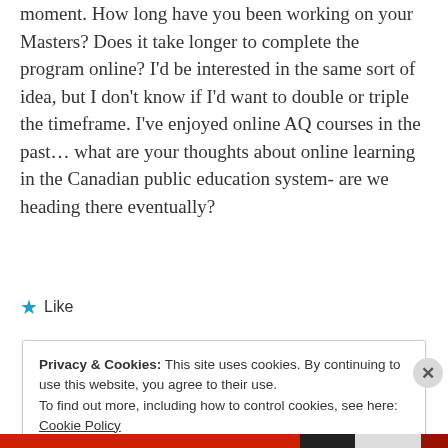moment. How long have you been working on your Masters? Does it take longer to complete the program online? I'd be interested in the same sort of idea, but I don't know if I'd want to double or triple the timeframe. I've enjoyed online AQ courses in the past... what are your thoughts about online learning in the Canadian public education system- are we heading there eventually?
★ Like
Privacy & Cookies: This site uses cookies. By continuing to use this website, you agree to their use.
To find out more, including how to control cookies, see here: Cookie Policy